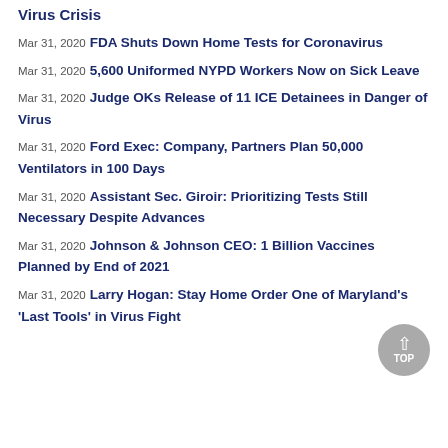Virus Crisis
Mar 31, 2020 FDA Shuts Down Home Tests for Coronavirus
Mar 31, 2020 5,600 Uniformed NYPD Workers Now on Sick Leave
Mar 31, 2020 Judge OKs Release of 11 ICE Detainees in Danger of Virus
Mar 31, 2020 Ford Exec: Company, Partners Plan 50,000 Ventilators in 100 Days
Mar 31, 2020 Assistant Sec. Giroir: Prioritizing Tests Still Necessary Despite Advances
Mar 31, 2020 Johnson & Johnson CEO: 1 Billion Vaccines Planned by End of 2021
Mar 31, 2020 Larry Hogan: Stay Home Order One of Maryland's 'Last Tools' in Virus Fight